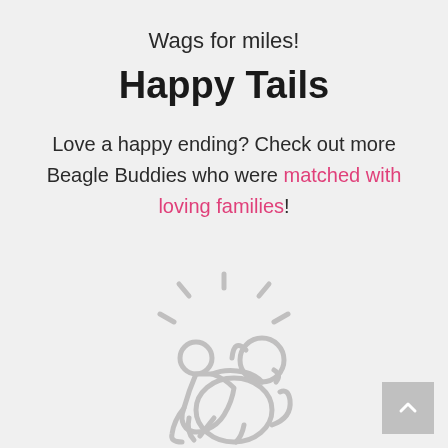Wags for miles!
Happy Tails
Love a happy ending? Check out more Beagle Buddies who were matched with loving families!
[Figure (illustration): Light gray outline illustration of a person hugging a sitting dog, with radiant lines around them suggesting happiness or glow.]